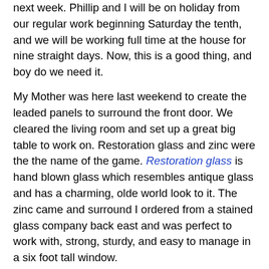next week. Phillip and I will be on holiday from our regular work beginning Saturday the tenth, and we will be working full time at the house for nine straight days. Now, this is a good thing, and boy do we need it.
My Mother was here last weekend to create the leaded panels to surround the front door. We cleared the living room and set up a great big table to work on. Restoration glass and zinc were the the name of the game. Restoration glass is hand blown glass which resembles antique glass and has a charming, olde world look to it. The zinc came and surround I ordered from a stained glass company back east and was perfect to work with, strong, sturdy, and easy to manage in a six foot tall window.
***URGENT UPDATE***
I received a call last night from my Mom who was infuriated by the photograph of her that had been used here for this posting. She said it did not look like her and all it showed was gray hair, spots, and wrinkles. So I have agreed to remove it from the blog and replace it with another. I looked and looked through the photos that were taken and could not